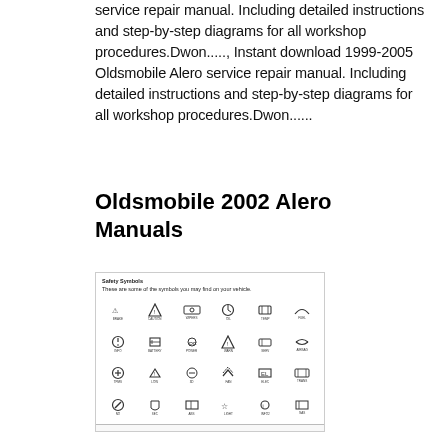service repair manual. Including detailed instructions and step-by-step diagrams for all workshop procedures.Dwon....., Instant download 1999-2005 Oldsmobile Alero service repair manual. Including detailed instructions and step-by-step diagrams for all workshop procedures.Dwon......
Oldsmobile 2002 Alero Manuals
[Figure (schematic): A page from the Oldsmobile Alero owner/service manual showing a grid of warning light symbols and indicator icons with small text labels, arranged in rows and columns.]